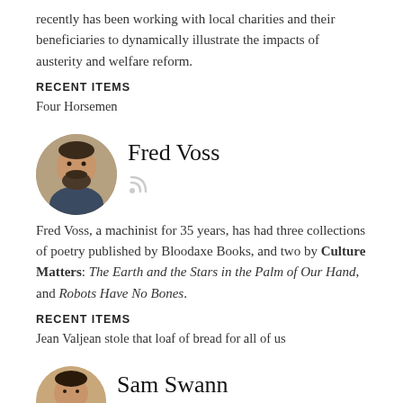recently has been working with local charities and their beneficiaries to dynamically illustrate the impacts of austerity and welfare reform.
RECENT ITEMS
Four Horsemen
Fred Voss
[Figure (photo): Circular portrait photo of Fred Voss, a man with dark beard and hair]
Fred Voss, a machinist for 35 years, has had three collections of poetry published by Bloodaxe Books, and two by Culture Matters: The Earth and the Stars in the Palm of Our Hand, and Robots Have No Bones.
RECENT ITEMS
Jean Valjean stole that loaf of bread for all of us
Sam Swann
[Figure (photo): Circular portrait photo of Sam Swann, a young man]